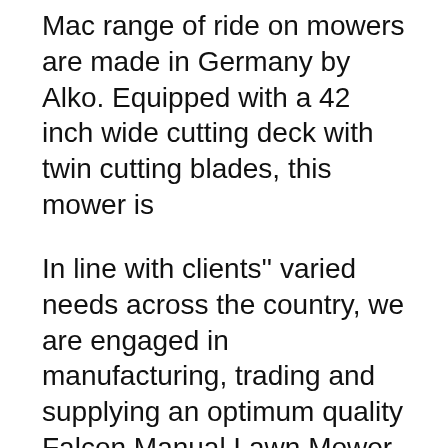Mac range of ride on mowers are made in Germany by Alko. Equipped with a 42 inch wide cutting deck with twin cutting blades, this mower is
In line with clients'' varied needs across the country, we are engaged in manufacturing, trading and supplying an optimum quality Falcon Manual Lawn Mower which is operated manually for cutting grass in lawns, our offered lawn mower is manufactured with top quality raw material in compliance with the international standards. Buy G 53 TK ALLROAD PLUS 4 and other products of the category Self-propelled lawnmowers on the official website Oleo-Mac!